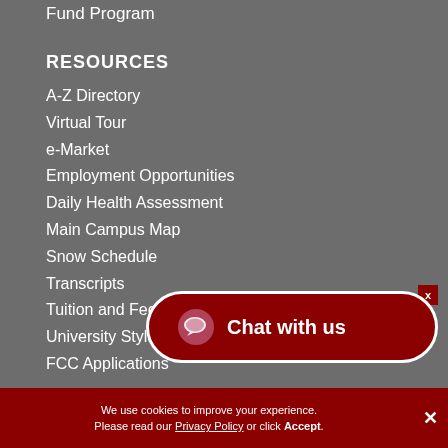Fund Program
RESOURCES
A-Z Directory
Virtual Tour
e-Market
Employment Opportunities
Daily Health Assessment
Main Campus Map
Snow Schedule
Transcripts
Tuition and Fees
University Style Guide
FCC Applications
[Figure (other): Chat with us button - dark red rounded rectangle with chat icon and text 'Chat with us']
We use cookies to improve your experience. Please read our Privacy Policy or click Accept.